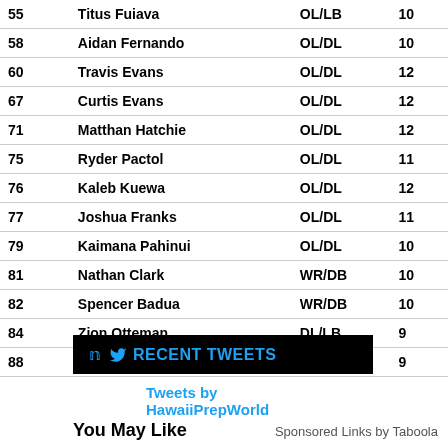| # | Name | Pos | GP |
| --- | --- | --- | --- |
| 55 | Titus Fuiava | OL/LB | 10 |
| 58 | Aidan Fernando | OL/DL | 10 |
| 60 | Travis Evans | OL/DL | 12 |
| 67 | Curtis Evans | OL/DL | 12 |
| 71 | Matthan Hatchie | OL/DL | 12 |
| 75 | Ryder Pactol | OL/DL | 11 |
| 76 | Kaleb Kuewa | OL/DL | 12 |
| 77 | Joshua Franks | OL/DL | 11 |
| 79 | Kaimana Pahinui | OL/DL | 10 |
| 81 | Nathan Clark | WR/DB | 10 |
| 82 | Spencer Badua | WR/DB | 10 |
| 84 | Zion Otteman | DL/LB | 9 |
| 88 | Samuel Hallyburton | WR/DB | 9 |
RECENT TWEETS
Tweets by HawaiiPrepWorld
You May Like
Sponsored Links by Taboola